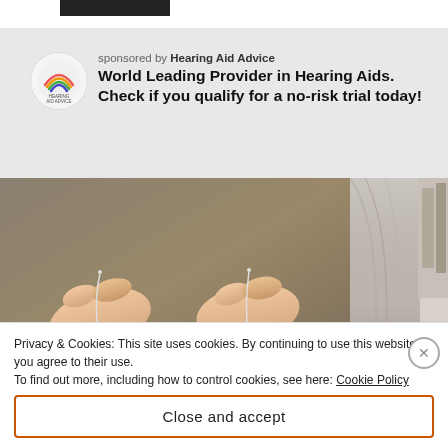[Figure (logo): Hearing Aid Advice logo — circular white badge with rainbow arc icon and text]
sponsored by Hearing Aid Advice
World Leading Provider in Hearing Aids. Check if you qualify for a no-risk trial today!
[Figure (photo): Two small hearing aids held between fingers — one blue (Signia brand) and one red/pink (Signia brand) — against a dark background. Partial photo of a person's ear/head on the right side.]
Privacy & Cookies: This site uses cookies. By continuing to use this website, you agree to their use.
To find out more, including how to control cookies, see here: Cookie Policy
Close and accept